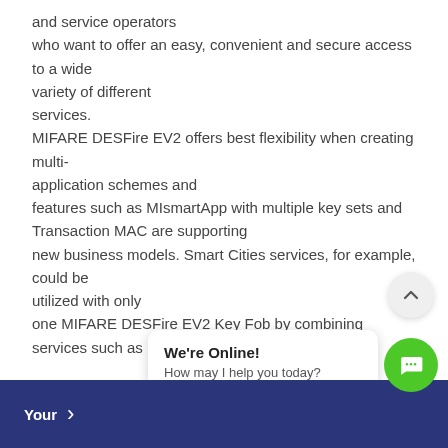and service operators who want to offer an easy, convenient and secure access to a wide variety of different services. MIFARE DESFire EV2 offers best flexibility when creating multi-application schemes and features such as MIsmartApp with multiple key sets and Transaction MAC are supporting new business models. Smart Cities services, for example, could be utilized with only one MIFARE DESFire EV2 Key Fob by combining services such as public transport, car or bike sharing, access to city attractions with citizen services, closed-loop e-payment applications and local loyalty programs. MIFARE DESFire EV2 is based on global open standards for bo... interface and crypto graphic method...
Your >